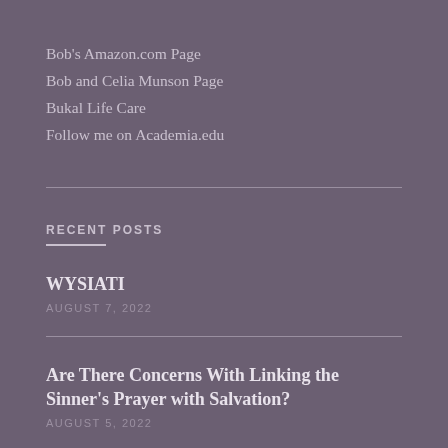Bob's Amazon.com Page
Bob and Celia Munson Page
Bukal Life Care
Follow me on Academia.edu
RECENT POSTS
WYSIATI
AUGUST 7, 2022
Are There Concerns With Linking the Sinner's Prayer with Salvation?
AUGUST 5, 2022